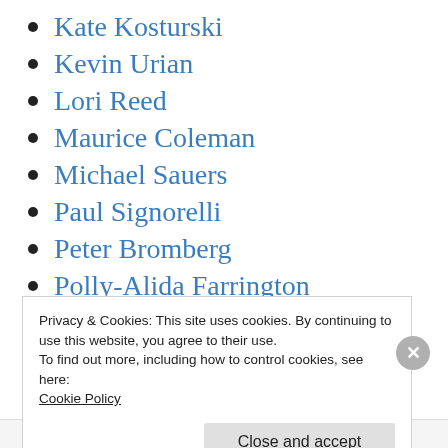Kate Kosturski
Kevin Urian
Lori Reed
Maurice Coleman
Michael Sauers
Paul Signorelli
Peter Bromberg
Polly-Alida Farrington
Sarah Glassmeyer
Sarah Houghton
Privacy & Cookies: This site uses cookies. By continuing to use this website, you agree to their use.
To find out more, including how to control cookies, see here:
Cookie Policy
Close and accept